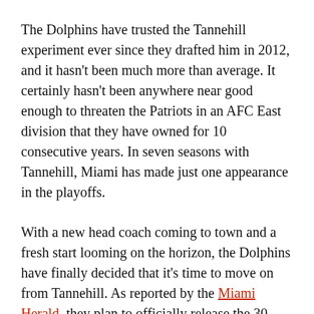The Dolphins have trusted the Tannehill experiment ever since they drafted him in 2012, and it hasn’t been much more than average. It certainly hasn’t been anywhere near good enough to threaten the Patriots in an AFC East division that they have owned for 10 consecutive years. In seven seasons with Tannehill, Miami has made just one appearance in the playoffs.
With a new head coach coming to town and a fresh start looming on the horizon, the Dolphins have finally decided that it’s time to move on from Tannehill. As reported by the Miami Herald, they plan to officially release the 30-year-old quarterback ahead of the 2019 season.
It’s a move that has been inevitable for several years now, but we just weren’t sure how long it would take for the